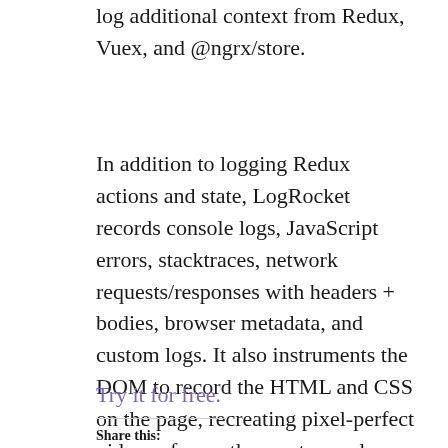log additional context from Redux, Vuex, and @ngrx/store.
In addition to logging Redux actions and state, LogRocket records console logs, JavaScript errors, stacktraces, network requests/responses with headers + bodies, browser metadata, and custom logs. It also instruments the DOM to record the HTML and CSS on the page, recreating pixel-perfect videos of even the most complex single-page and mobile apps.
Try it for free.
Share this: